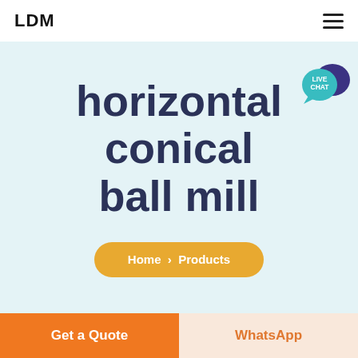LDM
horizontal conical ball mill
Home > Products
[Figure (other): Live Chat speech bubble icon with teal/purple color]
Get a Quote
WhatsApp